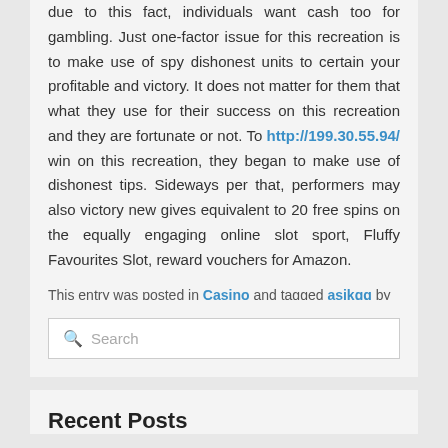due to this fact, individuals want cash too for gambling. Just one-factor issue for this recreation is to make use of spy dishonest units to certain your profitable and victory. It does not matter for them that what they use for their success on this recreation and they are fortunate or not. To http://199.30.55.94/ win on this recreation, they began to make use of dishonest tips. Sideways per that, performers may also victory new gives equivalent to 20 free spins on the equally engaging online slot sport, Fluffy Favourites Slot, reward vouchers for Amazon.
This entry was posted in Casino and tagged asikqq by admin. Bookmark the permalink.
Search
Recent Posts